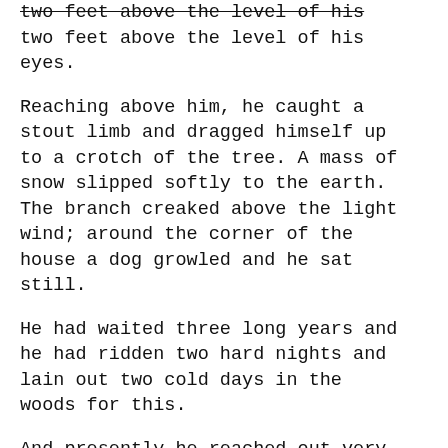two feet above the level of his eyes.
Reaching above him, he caught a stout limb and dragged himself up to a crotch of the tree. A mass of snow slipped softly to the earth. The branch creaked above the light wind; around the corner of the house a dog growled and he sat still.
He had waited three long years and he had ridden two hard nights and lain out two cold days in the woods for this.
And presently he reached out very carefully, and noiselessly broke leaf and branch and twig until a passage was cleared for his eye and for the point of the pistol that was gripped in his right hand.